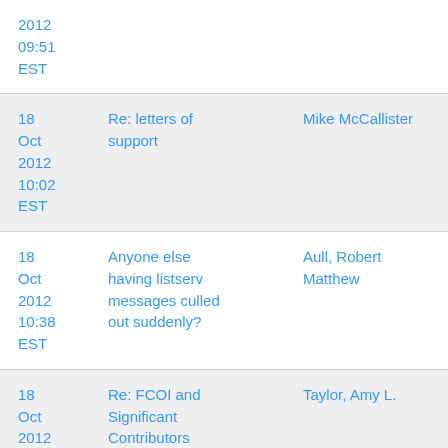| Date | Subject | Sender |
| --- | --- | --- |
| 2012
09:51
EST |  |  |
| 18 Oct 2012
10:02
EST | Re: letters of support | Mike McCallister |
| 18 Oct 2012
10:38
EST | Anyone else having listserv messages culled out suddenly? | Aull, Robert Matthew |
| 18 Oct 2012 | Re: FCOI and Significant Contributors | Taylor, Amy L. |